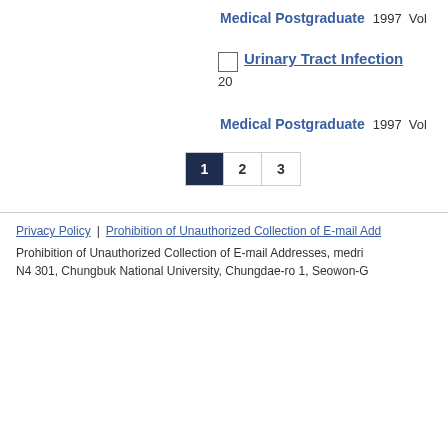Medical Postgraduate   1997   Vol
20
Urinary Tract Infection
Medical Postgraduate   1997   Vol
1  2  3
Privacy Policy | Prohibition of Unauthorized Collection of E-mail Addresses
Prohibition of Unauthorized Collection of E-mail Addresses, medri N4 301, Chungbuk National University, Chungdae-ro 1, Seowon-G